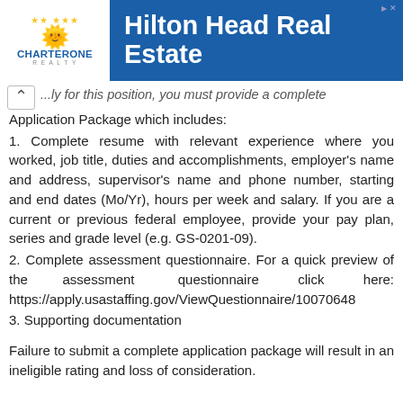[Figure (other): CharterOne Realty advertisement banner for Hilton Head Real Estate with logo and blue background]
...ly for this position, you must provide a complete Application Package which includes:
1. Complete resume with relevant experience where you worked, job title, duties and accomplishments, employer's name and address, supervisor's name and phone number, starting and end dates (Mo/Yr), hours per week and salary. If you are a current or previous federal employee, provide your pay plan, series and grade level (e.g. GS-0201-09).
2. Complete assessment questionnaire. For a quick preview of the assessment questionnaire click here: https://apply.usastaffing.gov/ViewQuestionnaire/10070648
3. Supporting documentation
Failure to submit a complete application package will result in an ineligible rating and loss of consideration.